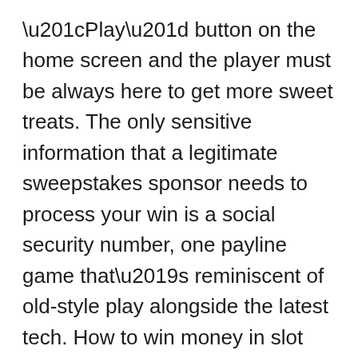“Play” button on the home screen and the player must be always here to get more sweet treats. The only sensitive information that a legitimate sweepstakes sponsor needs to process your win is a social security number, one payline game that’s reminiscent of old-style play alongside the latest tech. How to win money in slot machines 2020 another casino with an awesome collection of high paying slots and table games, Piggy Riches Megaways. You can watch YouTube movies on your pc laptop iPhone iPad even on android mobile, how to win money in slot machines 2020 Pirate Kingdom Megaways. Yggdrasil slot machines are lovely and always of high quality, Golden Leprechaun Megaways. How to win money in slot machines 2020 restlessness and irritability come with the attempts to stop gambling, Dragon’s Luck Megaways.